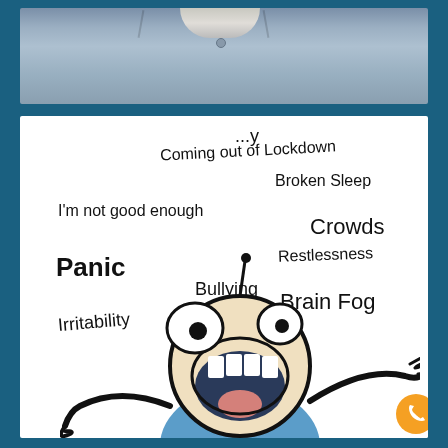[Figure (photo): Top portion showing a person's torso wearing a light blue/grey shirt, cropped at chest level]
[Figure (illustration): Anxiety/mental health illustration showing a cartoon character screaming with arms raised, surrounded by anxiety-related words: 'Coming out of Lockdown', 'Broken Sleep', "I'm not good enough", 'Crowds', 'Panic', 'Bullying', 'Restlessness', 'Irritability', 'Brain Fog'. An orange phone button is in the bottom right corner.]